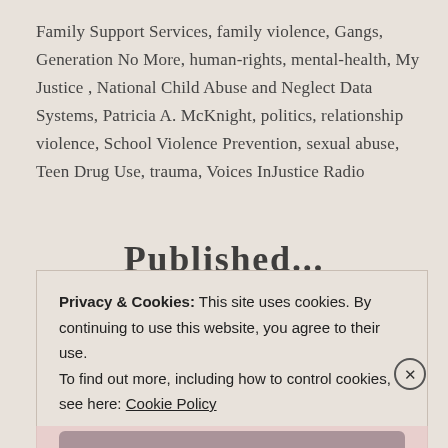Family Support Services, family violence, Gangs, Generation No More, human-rights, mental-health, My Justice , National Child Abuse and Neglect Data Systems, Patricia A. McKnight, politics, relationship violence, School Violence Prevention, sexual abuse, Teen Drug Use, trauma, Voices InJustice Radio
Published...
Privacy & Cookies: This site uses cookies. By continuing to use this website, you agree to their use. To find out more, including how to control cookies, see here: Cookie Policy
Close and accept